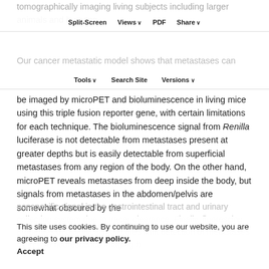tomographically imaging living subjects including larger animals and humans.
Split-Screen | Views | PDF | Share
Tools | Search Site | Versions
Our cancer metastatic model shows that metastases can be imaged by microPET and bioluminescence in living mice using this triple fusion reporter gene, with certain limitations for each technique. The bioluminescence signal from Renilla luciferase is not detectable from metastases present at greater depths but is easily detectable from superficial metastases from any region of the body. On the other hand, microPET reveals metastases from deep inside the body, but signals from metastases in the abdomen/pelvis are somewhat obscured by the
nonspecific signal in the gastrointestinal tract and urinary collecting system due to tracer clearance. Finally, fluorescing properties of biological molecules limit detection of metastases by in vivo fluorescence imaging b
This site uses cookies. By continuing to use our website, you are agreeing to our privacy policy.
Accept